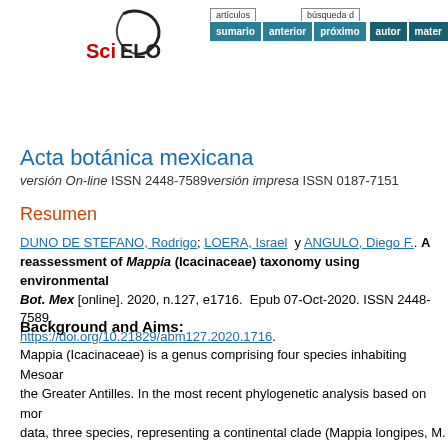[Figure (logo): SciELO logo with stylized black swoosh and red/black text]
artículos  sumario anterior próximo  búsqueda de autor mater
Acta botánica mexicana
versión On-line ISSN 2448-7589versión impresa ISSN 0187-7151
Resumen
DUNO DE STEFANO, Rodrigo; LOERA, Israel y ANGULO, Diego F.. A reassessment of Mappia (Icacinaceae) taxonomy using environmental Bot. Mex [online]. 2020, n.127, e1716. Epub 07-Oct-2020. ISSN 2448-7589 https://doi.org/10.21829/abm127.2020.1716.
Background and Aims:
Mappia (Icacinaceae) is a genus comprising four species inhabiting Mesoamerica and the Greater Antilles. In the most recent phylogenetic analysis based on morphological data, three species, representing a continental clade (Mappia longipes, M. r and M. multiflora) sister to the Antillean species M. racemosa, were supported. The aims in this study were to evaluate whether environmental data support the hypothesis in Mappia entities.